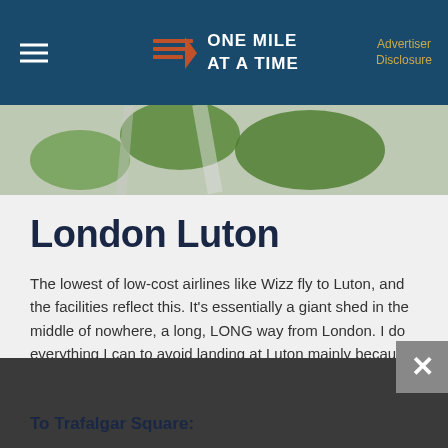ONE MILE AT A TIME | Advertiser Disclosure
[Figure (photo): Aerial view of green fields and paths, partially cropped at top of page]
London Luton
The lowest of low-cost airlines like Wizz fly to Luton, and the facilities reflect this. It's essentially a giant shed in the middle of nowhere, a long, LONG way from London. I do everything I can to avoid landing at Luton mainly because there is no train to the airport so any public transport requires the frustrating bus to the train station.
If you have to land there, here are your options.
To Trafalgar Square: